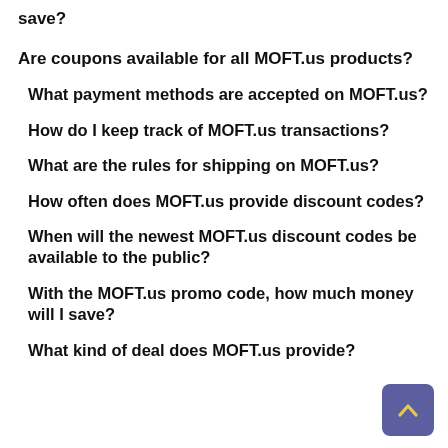save?
Are coupons available for all MOFT.us products?
What payment methods are accepted on MOFT.us?
How do I keep track of MOFT.us transactions?
What are the rules for shipping on MOFT.us?
How often does MOFT.us provide discount codes?
When will the newest MOFT.us discount codes be available to the public?
With the MOFT.us promo code, how much money will I save?
What kind of deal does MOFT.us provide?